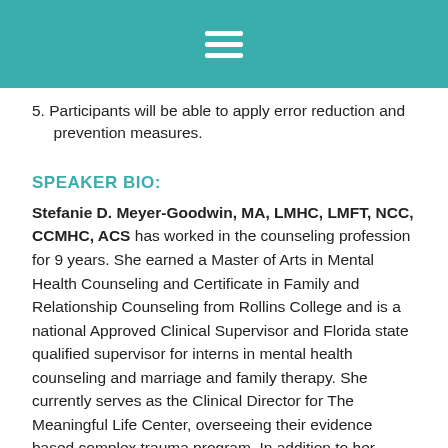≡
5. Participants will be able to apply error reduction and prevention measures.
SPEAKER BIO:
Stefanie D. Meyer-Goodwin, MA, LMHC, LMFT, NCC, CCMHC, ACS has worked in the counseling profession for 9 years. She earned a Master of Arts in Mental Health Counseling and Certificate in Family and Relationship Counseling from Rollins College and is a national Approved Clinical Supervisor and Florida state qualified supervisor for interns in mental health counseling and marriage and family therapy. She currently serves as the Clinical Director for The Meaningful Life Center, overseeing their evidence based complex trauma program. In addition to her clinical experience, Stefanie is a doctoral candidate in Counselor Education and